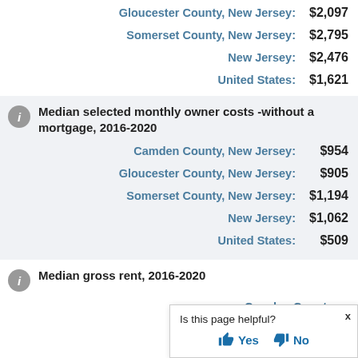| Location | Value |
| --- | --- |
| Gloucester County, New Jersey: | $2,097 |
| Somerset County, New Jersey: | $2,795 |
| New Jersey: | $2,476 |
| United States: | $1,621 |
Median selected monthly owner costs -without a mortgage, 2016-2020
| Location | Value |
| --- | --- |
| Camden County, New Jersey: | $954 |
| Gloucester County, New Jersey: | $905 |
| Somerset County, New Jersey: | $1,194 |
| New Jersey: | $1,062 |
| United States: | $509 |
Median gross rent, 2016-2020
| Location | Value |
| --- | --- |
| Camden County, |  |
| Gloucester County, |  |
Is this page helpful? Yes No